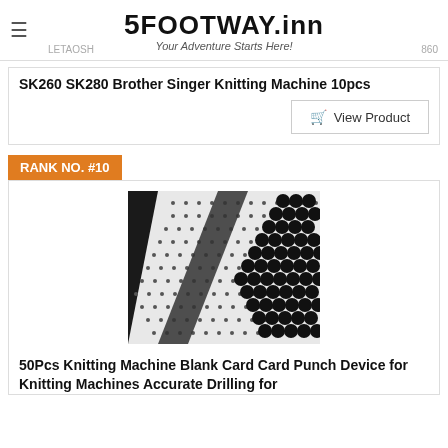5FOOTWAY.inn — Your Adventure Starts Here!
SK260 SK280 Brother Singer Knitting Machine 10pcs
View Product
RANK NO. #10
[Figure (photo): Close-up photo of a knitting machine punch card with a grid pattern of small and large holes on white card stock, with dark background.]
50Pcs Knitting Machine Blank Card Card Punch Device for Knitting Machines Accurate Drilling for